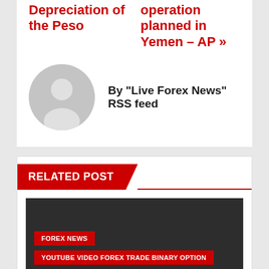Depreciation of the Peso
operation planned in Yemen – AP »
By "Live Forex News" RSS feed
RELATED POST
FOREX NEWS
YOUTUBE VIDEO FOREX TRADE BINARY OPTION